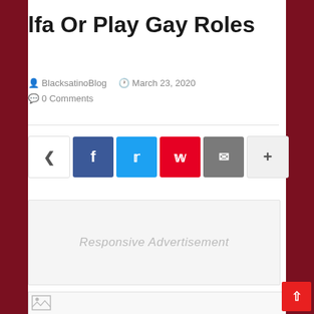lfa Or Play Gay Roles
BlacksatinoBlog  March 23, 2020  0 Comments
[Figure (infographic): Social share buttons: share (generic), Facebook, Twitter, Pinterest, Email, More (+)]
Responsive Advertisement
[Figure (photo): Broken image placeholder at bottom of page]